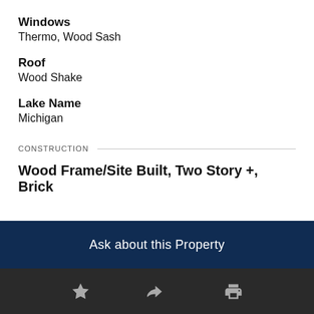Windows
Thermo, Wood Sash
Roof
Wood Shake
Lake Name
Michigan
CONSTRUCTION
Wood Frame/Site Built, Two Story +, Brick
Ask about this Property